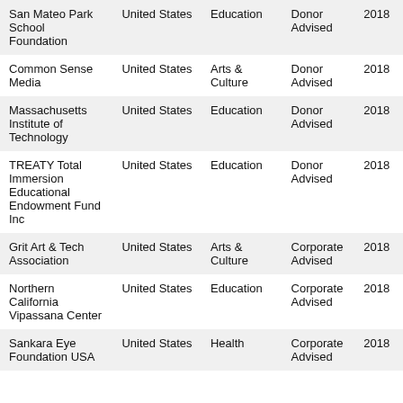| San Mateo Park School Foundation | United States | Education | Donor Advised | 2018 |
| Common Sense Media | United States | Arts & Culture | Donor Advised | 2018 |
| Massachusetts Institute of Technology | United States | Education | Donor Advised | 2018 |
| TREATY Total Immersion Educational Endowment Fund Inc | United States | Education | Donor Advised | 2018 |
| Grit Art & Tech Association | United States | Arts & Culture | Corporate Advised | 2018 |
| Northern California Vipassana Center | United States | Education | Corporate Advised | 2018 |
| Sankara Eye Foundation USA | United States | Health | Corporate Advised | 2018 |